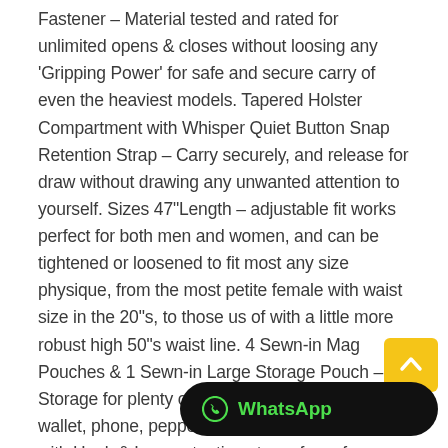Fastener – Material tested and rated for unlimited opens & closes without loosing any 'Gripping Power' for safe and secure carry of even the heaviest models. Tapered Holster Compartment with Whisper Quiet Button Snap Retention Strap – Carry securely, and release for draw without drawing any unwanted attention to yourself. Sizes 47"Length – adjustable fit works perfect for both men and women, and can be tightened or loosened to fit most any size physique, from the most petite female with waist size in the 20"s, to those us of with a little more robust high 50"s waist line. 4 Sewn-in Mag Pouches & 1 Sewn-in Large Storage Pouch – Storage for plenty of backup mags + handcuffs, wallet, phone, pepper spray, knife, light, etc... all with Hook & Loop retention straps for safe secure carry. 1 Detachable Mag P[...] Large Storage Pouch – Now eve[...] storage with Hook & Loop retention straps! Place
[Figure (other): Yellow back-to-top arrow button and black WhatsApp button overlay at bottom right of page]